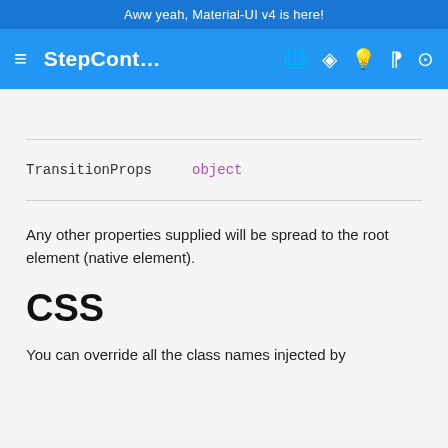Aww yeah, Material-UI v4 is here!
StepCont... (navigation bar with icons)
| Prop | Type |
| --- | --- |
| TransitionProps | object |
Any other properties supplied will be spread to the root element (native element).
CSS
You can override all the class names injected by